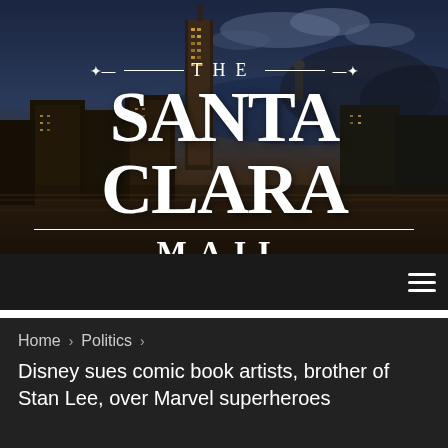[Figure (photo): Aerial nighttime photo of San Francisco cityscape with bay and hills in background, used as hero background for The Santa Clara Mail newspaper website]
THE SANTA CLARA MAIL
Home > Politics > Disney sues comic book artists, brother of Stan Lee, over Marvel superheroes